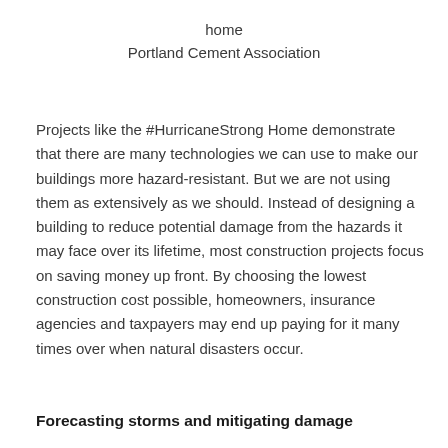home
Portland Cement Association
Projects like the #HurricaneStrong Home demonstrate that there are many technologies we can use to make our buildings more hazard-resistant. But we are not using them as extensively as we should. Instead of designing a building to reduce potential damage from the hazards it may face over its lifetime, most construction projects focus on saving money up front. By choosing the lowest construction cost possible, homeowners, insurance agencies and taxpayers may end up paying for it many times over when natural disasters occur.
Forecasting storms and mitigating damage